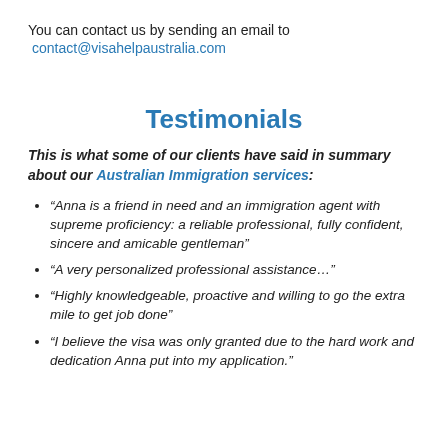You can contact us by sending an email to
contact@visahelpaustralia.com
Testimonials
This is what some of our clients have said in summary about our Australian Immigration services:
“Anna is a friend in need and an immigration agent with supreme proficiency: a reliable professional, fully confident, sincere and amicable gentleman”
“A very personalized professional assistance…”
“Highly knowledgeable, proactive and willing to go the extra mile to get job done”
“I believe the visa was only granted due to the hard work and dedication Anna put into my application.”